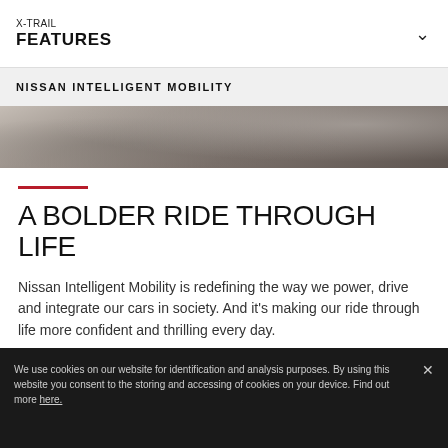X-TRAIL
FEATURES
NISSAN INTELLIGENT MOBILITY
[Figure (photo): Dark moody sky/cloud photograph used as hero banner image]
A BOLDER RIDE THROUGH LIFE
Nissan Intelligent Mobility is redefining the way we power, drive and integrate our cars in society. And it's making our ride through life more confident and thrilling every day.
[Figure (logo): NISSAN INTELLIGENT MOBILITY logo text with stylized I in blue box]
We use cookies on our website for identification and analysis purposes. By using this website you consent to the storing and accessing of cookies on your device. Find out more here.